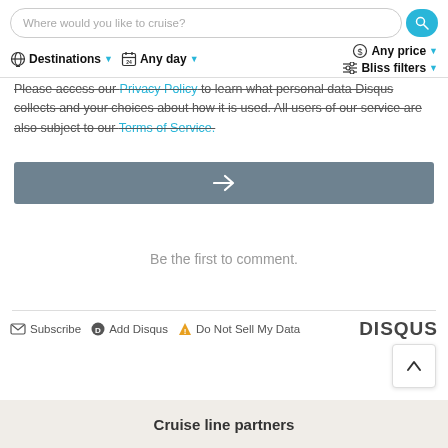Where would you like to cruise? | Destinations | Any day | Any price | Bliss filters
Please access our Privacy Policy to learn what personal data Disqus collects and your choices about how it is used. All users of our service are also subject to our Terms of Service.
[Figure (screenshot): Submit/continue button (grey bar with right arrow)]
Be the first to comment.
Subscribe   Add Disqus   Do Not Sell My Data   DISQUS
Cruise line partners